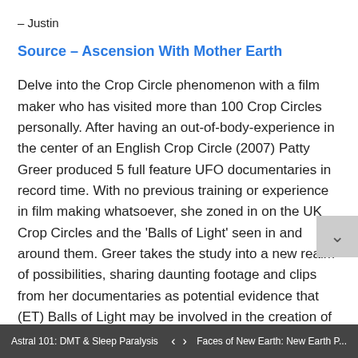– Justin
Source – Ascension With Mother Earth
Delve into the Crop Circle phenomenon with a film maker who has visited more than 100 Crop Circles personally. After having an out-of-body-experience in the center of an English Crop Circle (2007) Patty Greer produced 5 full feature UFO documentaries in record time. With no previous training or experience in film making whatsoever, she zoned in on the UK Crop Circles and the 'Balls of Light' seen in and around them. Greer takes the study into a new realm of possibilities, sharing daunting footage and clips from her documentaries as potential evidence that (ET) Balls of Light may be involved in the creation of (many) Crop Circles.
Astral 101: DMT & Sleep Paralysis   <   >   Faces of New Earth: New Earth P...